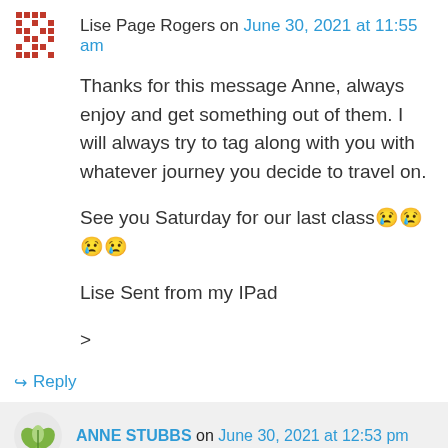Lise Page Rogers on June 30, 2021 at 11:55 am
Thanks for this message Anne, always enjoy and get something out of them. I will always try to tag along with you with whatever journey you decide to travel on.
See you Saturday for our last class 😢😢😢😢
Lise Sent from my IPad
>
↪ Reply
ANNE STUBBS on June 30, 2021 at 12:53 pm
Thank you Lisa; glad to know you are out